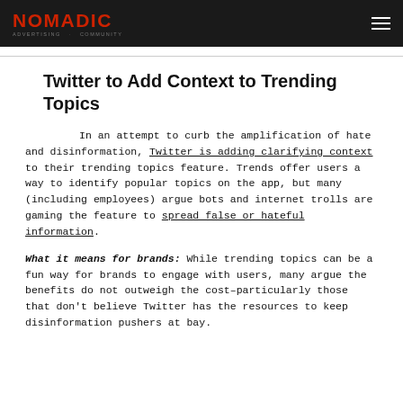NOMADIC
Twitter to Add Context to Trending Topics
In an attempt to curb the amplification of hate and disinformation, Twitter is adding clarifying context to their trending topics feature. Trends offer users a way to identify popular topics on the app, but many (including employees) argue bots and internet trolls are gaming the feature to spread false or hateful information.
What it means for brands: While trending topics can be a fun way for brands to engage with users, many argue the benefits do not outweigh the cost–particularly those that don't believe Twitter has the resources to keep disinformation pushers at bay.